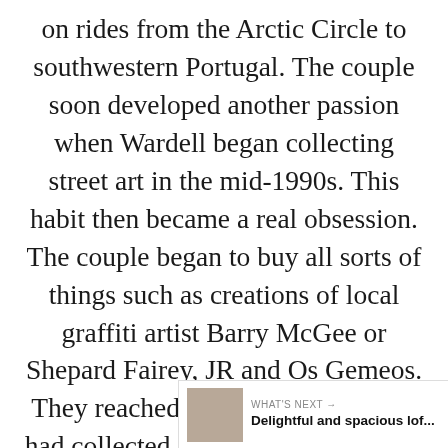on rides from the Arctic Circle to southwestern Portugal. The couple soon developed another passion when Wardell began collecting street art in the mid-1990s. This habit then became a real obsession. The couple began to buy all sorts of things such as creations of local graffiti artist Barry McGee or Shepard Fairey, JR and Os Gemeos. They reached a moment when they had collected over 120 pieces and at that time the couple realized they would need a bigger home if they wanted to keep doing that. They moved into the lovely loft that offers them the perfect interior structure. Wardell's office has a recta… the couple calls the “dinner’s ready slot”.